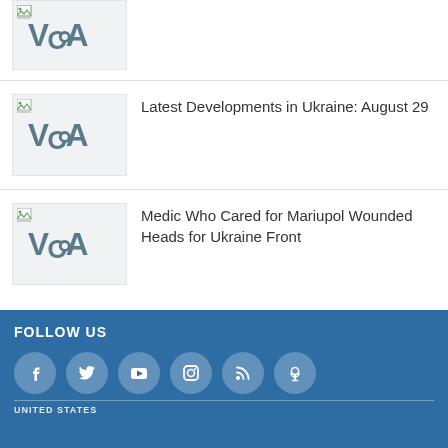[Figure (logo): VOA (Voice of America) logo placeholder - partial, cut off at top]
[Figure (logo): VOA (Voice of America) logo placeholder]
Latest Developments in Ukraine: August 29
[Figure (logo): VOA (Voice of America) logo placeholder]
Medic Who Cared for Mariupol Wounded Heads for Ukraine Front
FOLLOW US
[Figure (infographic): Social media icons: Facebook, Twitter, YouTube, Instagram, RSS, Podcast - white circles on blue background]
UNITED STATES